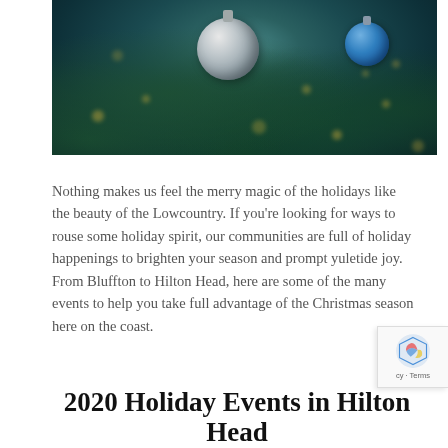[Figure (photo): Close-up photo of a decorated Christmas tree with pine branches, a large silver/white ornament in the center, a blue ornament on the right, and gold bokeh lights in the background]
Nothing makes us feel the merry magic of the holidays like the beauty of the Lowcountry. If you're looking for ways to rouse some holiday spirit, our communities are full of holiday happenings to brighten your season and prompt yuletide joy. From Bluffton to Hilton Head, here are some of the many events to help you take full advantage of the Christmas season here on the coast.
2020 Holiday Events in Hilton Head